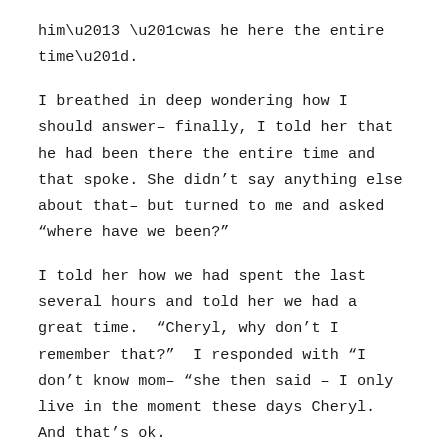him”– “was he here the entire time”.
I breathed in deep wondering how I should answer– finally, I told her that he had been there the entire time and that spoke. She didn’t say anything else about that– but turned to me and asked “where have we been?”
I told her how we had spent the last several hours and told her we had a great time.  “Cheryl, why don’t I remember that?”  I responded with “I don’t know mom– “she then said – I only live in the moment these days Cheryl.  And that’s ok.
I turned Sirius radio to Willie Nelson